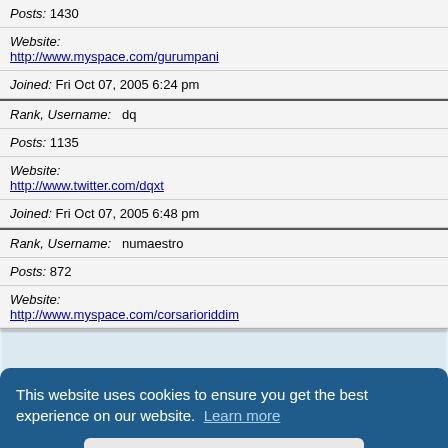| Rank, Username: spaceboy |
| Posts: 1430 |
| Website: http://www.myspace.com/gurumpani |
| Joined: Fri Oct 07, 2005 6:24 pm |
| Rank, Username: dq |
| Posts: 1135 |
| Website: http://www.twitter.com/dqxt |
| Joined: Fri Oct 07, 2005 6:48 pm |
| Rank, Username: numaestro |
| Posts: 872 |
| Website: http://www.myspace.com/corsarioriddim |
| Posts: 7442 |
This website uses cookies to ensure you get the best experience on our website. Learn more
Got it!